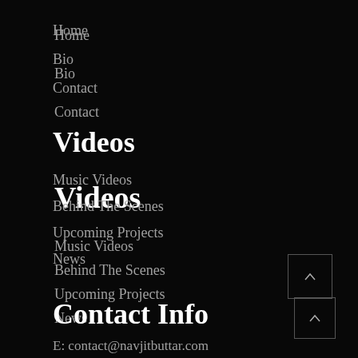Home
Bio
Contact
Videos
Music Videos
Behind The Scenes
Upcoming Projects
News
Contact Info
E: contact@navjitbuttar.com